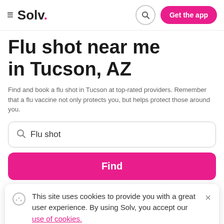≡ Solv. [search icon] Get the app
Flu shot near me in Tucson, AZ
Find and book a flu shot in Tucson at top-rated providers. Remember that a flu vaccine not only protects you, but helps protect those around you.
Flu shot
Find
This site uses cookies to provide you with a great user experience. By using Solv, you accept our use of cookies.
NextCare Urgent Care, East